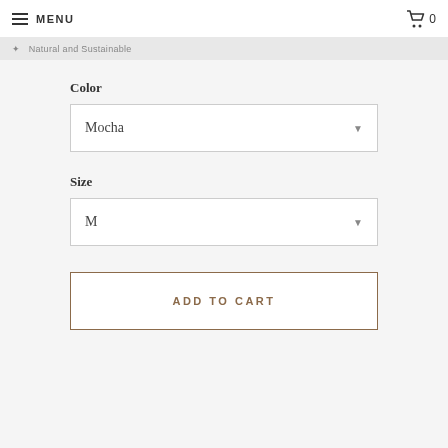MENU  0
Natural and Sustainable
Color
Mocha
Size
M
ADD TO CART